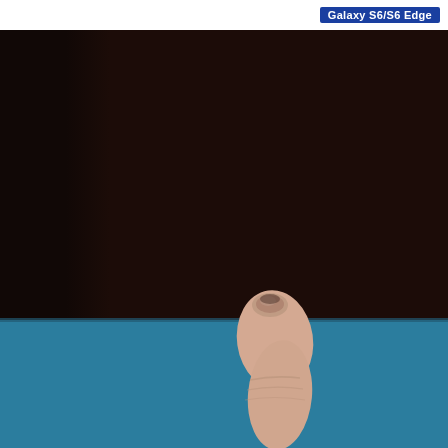Galaxy S6/S6 Edge
[Figure (photo): Close-up photograph of a human thumb/finger pointing upward against a dark brown background (upper portion) and a teal/blue background (lower portion). The image appears to be related to a Samsung Galaxy S6/S6 Edge product page or review, possibly illustrating fingerprint sensor usage.]